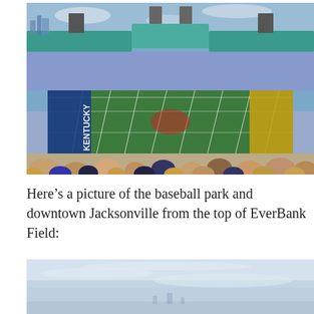[Figure (photo): Aerial view of a large football stadium (EverBank Field) packed with fans wearing blue and gold, showing the green field with yard lines, scoreboard structures, and a city skyline in the background under a partly cloudy sky.]
Here’s a picture of the baseball park and downtown Jacksonville from the top of EverBank Field:
[Figure (photo): Partial view from the top of EverBank Field showing a light blue hazy sky with faint city/baseball park structures visible near the horizon.]